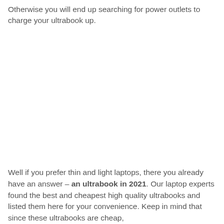Otherwise you will end up searching for power outlets to charge your ultrabook up.
Well if you prefer thin and light laptops, there you already have an answer – an ultrabook in 2021. Our laptop experts found the best and cheapest high quality ultrabooks and listed them here for your convenience. Keep in mind that since these ultrabooks are cheap,